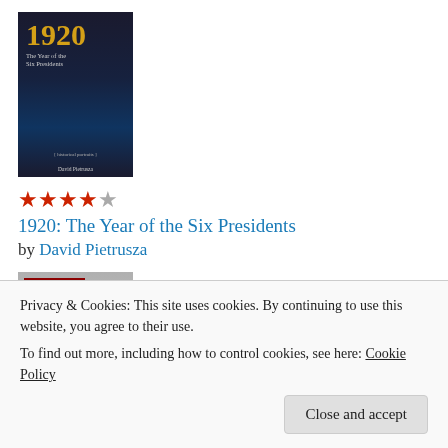[Figure (photo): Book cover: 1920: The Year of the Six Presidents by David Pietrusza, dark blue background with golden year text and historical portraits]
[Figure (other): 4 out of 5 stars rating in red]
1920: The Year of the Six Presidents
by David Pietrusza
[Figure (photo): Book cover: Silent Cal's Almanack: The Homespun Wit and Wisdom of Vermont's Calvin Coolidge]
[Figure (other): 4 out of 5 stars rating in red]
Silent Cal's Almanack: The Homespun Wit and
Privacy & Cookies: This site uses cookies. By continuing to use this website, you agree to their use.
To find out more, including how to control cookies, see here: Cookie Policy
Close and accept